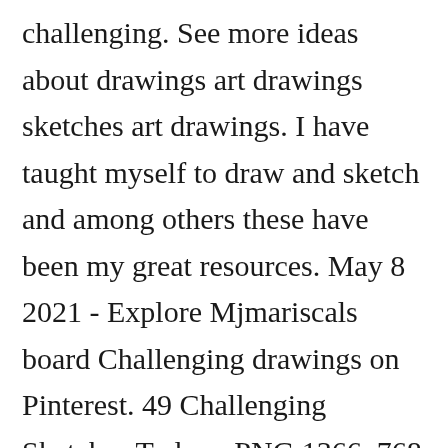challenging. See more ideas about drawings art drawings sketches art drawings. I have taught myself to draw and sketch and among others these have been my great resources. May 8 2021 - Explore Mjmariscals board Challenging drawings on Pinterest. 49 Challenging Sketches Todraw PNG 1366x768 1440P. Rapid viz by kurt hanks yes it is extremely challenging. Rik Lee On Instagram Back In Seoul And Half Way Home After One Of The Most Challenging And Rewarding 10 Day[x] Of My Life I